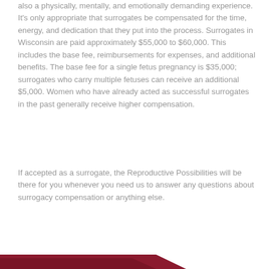also a physically, mentally, and emotionally demanding experience. It's only appropriate that surrogates be compensated for the time, energy, and dedication that they put into the process. Surrogates in Wisconsin are paid approximately $55,000 to $60,000. This includes the base fee, reimbursements for expenses, and additional benefits. The base fee for a single fetus pregnancy is $35,000; surrogates who carry multiple fetuses can receive an additional $5,000. Women who have already acted as successful surrogates in the past generally receive higher compensation.
If accepted as a surrogate, the Reproductive Possibilities will be there for you whenever you need us to answer any questions about surrogacy compensation or anything else.
[Figure (other): Dark red/maroon decorative banner shape at the bottom of the page]